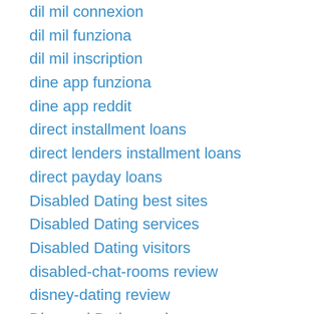dil mil connexion
dil mil funziona
dil mil inscription
dine app funziona
dine app reddit
direct installment loans
direct lenders installment loans
direct payday loans
Disabled Dating best sites
Disabled Dating services
Disabled Dating visitors
disabled-chat-rooms review
disney-dating review
Divorced Dating reviews
divorced-chat-rooms review